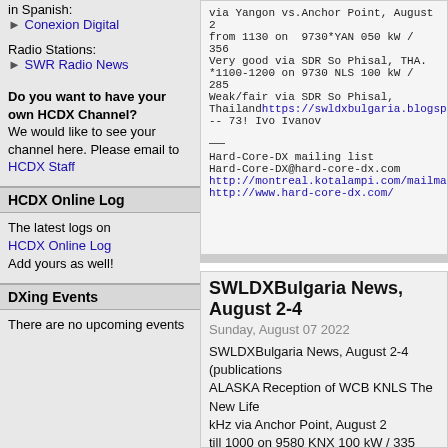in Spanish: ► Conexion Digital
Radio Stations:
► SWR Radio News
Do you want to have your own HCDX Channel? We would like to see your channel here. Please email to HCDX Staff
HCDX Online Log
The latest logs on HCDX Online Log Add yours as well!
DXing Events
There are no upcoming events
via Yangon vs.Anchor Point, August 2 from 1130 on  9730*YAN 050 kW / 356 Very good via SDR So Phisal, THA. *1100-1200 on 9730 NLS 100 kW / 285 Weak/fair via SDR So Phisal, Thailand https://swldxbulgaria.blogspot.com/20 -- 73! Ivo Ivanov
Hard-Core-DX mailing list Hard-Core-DX@hard-core-dx.com http://montreal.kotalampi.com/mailman/listinfo/ha http://www.hard-core-dx.com/
SWLDXBulgaria News, August 2-4
Sunday, August 07 2022
SWLDXBulgaria News, August 2-4 (publications ALASKA Reception of WCB KNLS The New Life kHz via Anchor Point, August 2 till 1000 on 9580 KNX 100 kW / 335 deg to NEAs Australia relay Voice of Martyrs, 1000-1100 on 9580 NLS 100 kW / 270 deg to SB good via SDR Kanuma Tichigi, Japanhttps://swldxbulgaria.blogspot.com/2022/0